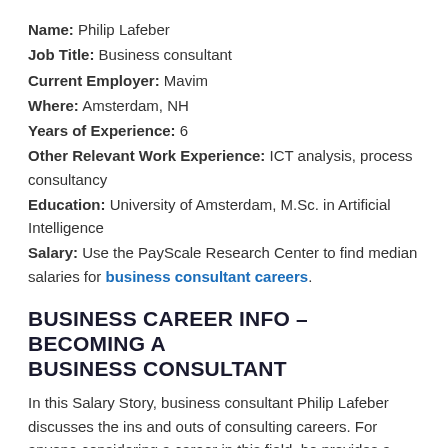Name: Philip Lafeber
Job Title: Business consultant
Current Employer: Mavim
Where: Amsterdam, NH
Years of Experience: 6
Other Relevant Work Experience: ICT analysis, process consultancy
Education: University of Amsterdam, M.Sc. in Artificial Intelligence
Salary: Use the PayScale Research Center to find median salaries for business consultant careers.
BUSINESS CAREER INFO – BECOMING A BUSINESS CONSULTANT
In this Salary Story, business consultant Philip Lafeber discusses the ins and outs of consulting careers. For anyone considering a career in this field, he provides a detailed